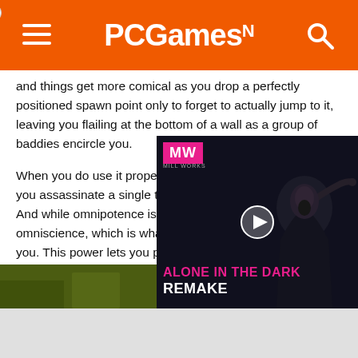PCGamesN
and things get more comical as you drop a perfectly positioned spawn point only to forget to actually jump to it, leaving you flailing at the bottom of a wall as a group of baddies encircle you.
When you do use it properly it’s a thing of beauty, letting you assassinate a single target and phase back to safety. And while omnipotence is a hoot, it pales in comparison to omniscience, which is what Lurk’s Foresight ability gives you. This power lets you pause the action and search for enemies with total camera freedom, tag the people you’re following, and even mark their routes. Foresight even lets you see each enemy’s cone of vision, letting you plan Displace moves
[Figure (screenshot): Video ad overlay for 'Alone in the Dark Remake' from MillWorks, showing dark game scene with play button]